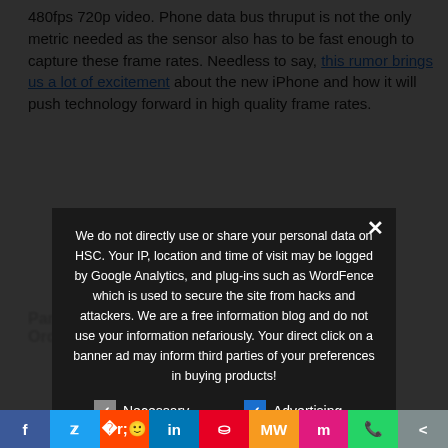480fps 720p video. Phone data bus thruput is not the only metric needed as the sensor also has to be fast enough to capture these frame rates. Needless to say, this rumor brings us a lot of excitement about the new iPhone and how it will push technology forward in high quality frame rates.
We do not directly use or share your personal data on HSC. Your IP, location and time of visit may be logged by Google Analytics, and plug-ins such as WordFence which is used to secure the site from hacks and attackers. We are a free information blog and do not use your information nefariously. Your direct click on a banner ad may inform third parties of your preferences in buying products!
Necessary (checkbox gray checked), Advertising (checkbox blue checked), Analytics (checkbox blue checked), Other (checkbox blue checked)
Privacy Preferences
I Agree
Panasonic... With Pre Orders...